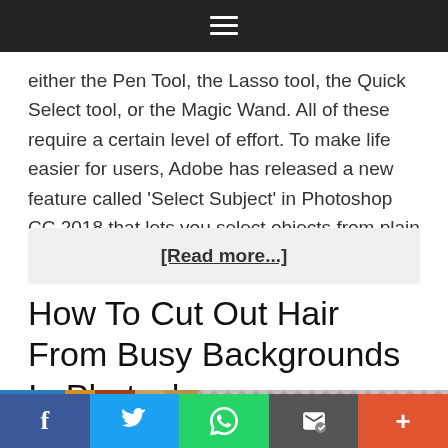≡
either the Pen Tool, the Lasso tool, the Quick Select tool, or the Magic Wand. All of these require a certain level of effort. To make life easier for users, Adobe has released a new feature called 'Select Subject' in Photoshop CC 2018 that lets you select objects from plain and complex backgrounds, in just one ...
[Read more...]
How To Cut Out Hair From Busy Backgrounds In Photoshop
[Figure (photo): Bottom strip showing a partial image with colorful hair on the left and a diamond/cross-hatch pattern placeholder on the right]
f  [Twitter bird]  [WhatsApp]  [Email]  +